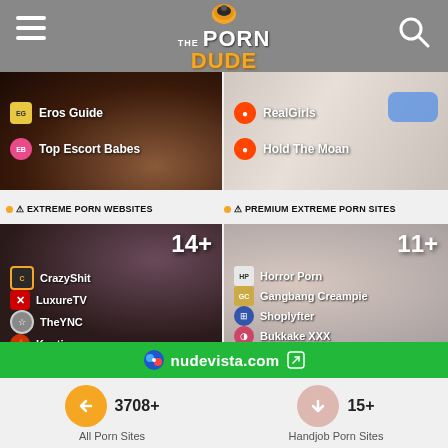The Porn Dude
[Figure (screenshot): Two thumbnail cards showing escort/subreddit sites: Eros Guide, Top Escort Babes (left); RealGirls, Hold The Moan (right)]
⚠ EXTREME PORN WEBSITES
⚠ PREMIUM EXTREME PORN SITES
[Figure (screenshot): Extreme porn websites card showing 14+ sites including CrazyShit, LuxureTV, TheYNC, Kaotic]
[Figure (screenshot): Premium extreme porn sites card showing 11+ sites including Horror Porn, Gangbang Creampie, Shoplyfter, Bukkake XXX]
nudevista.com
3708+ All Porn Sites
15+ Handjob Porn Sites